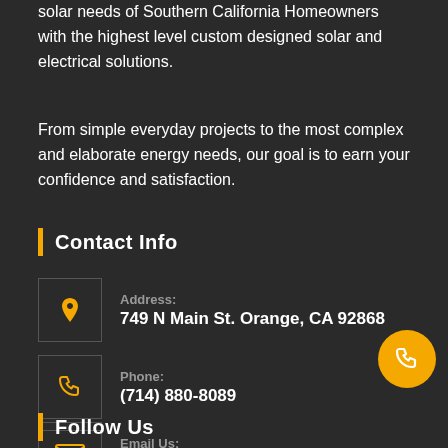solar needs of Southern California Homeowners with the highest level custom designed solar and electrical solutions.
From simple everyday projects to the most complex and elaborate energy needs, our goal is to earn your confidence and satisfaction.
Contact Info
Address: 749 N Main St. Orange, CA 92868
Phone: (714) 880-8089
Email Us: Contact Us Here
Follow Us